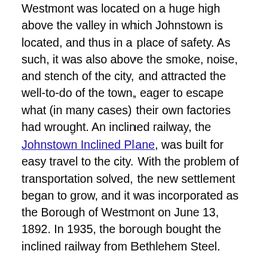Westmont was located on a huge high above the valley in which Johnstown is located, and thus in a place of safety. As such, it was also above the smoke, noise, and stench of the city, and attracted the well-to-do of the town, eager to escape what (in many cases) their own factories had wrought. An inclined railway, the Johnstown Inclined Plane, was built for easy travel to the city. With the problem of transportation solved, the new settlement began to grow, and it was incorporated as the Borough of Westmont on June 13, 1892. In 1935, the borough bought the inclined railway from Bethlehem Steel.
In 1938 the Johnstown Traction Company began to operate bus service to Westmont via buses that rode up and down the Inclined Plane. At one time there were plans to extend the Southmont streetcar line from its terminus at Diamond Boulevard and Menoher Boulevard along Diamond Boulevard to Luzerne Street, and then along